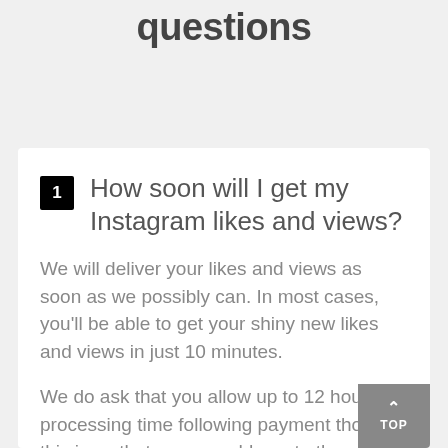questions
How soon will I get my Instagram likes and views?
We will deliver your likes and views as soon as we possibly can. In most cases, you'll be able to get your shiny new likes and views in just 10 minutes.
We do ask that you allow up to 12 hours processing time following payment though, this is so that we can add you to the automated system.